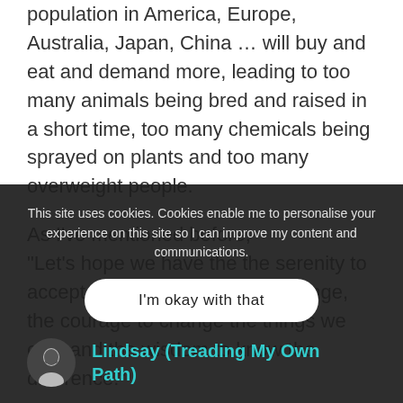population in America, Europe, Australia, Japan, China … will buy and eat and demand more, leading to too many animals being bred and raised in a short time, too many chemicals being sprayed on plants and too many overweight people.
As I've mentioned before,
"Let's hope we have the the serenity to accept the things we cannot change, the courage to change the things we can, and the wisdom to know the difference."
This site uses cookies. Cookies enable me to personalise your experience on this site so I can improve my content and communications.
I'm okay with that
Lindsay (Treading My Own Path)